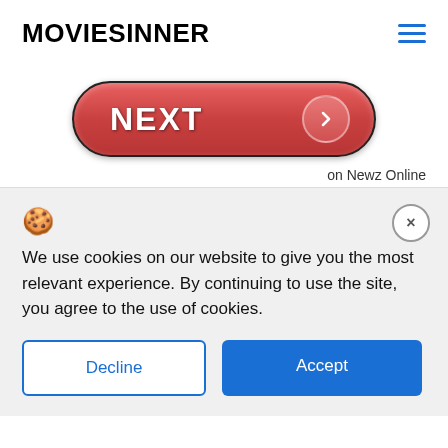MOVIESINNER
[Figure (illustration): Red rounded button with text NEXT and a right-arrow circle icon on the right side]
on Newz Online
[Figure (infographic): Cookie consent popup with cookie icon, close X button, consent text, Decline and Accept buttons]
We use cookies on our website to give you the most relevant experience. By continuing to use the site, you agree to the use of cookies.